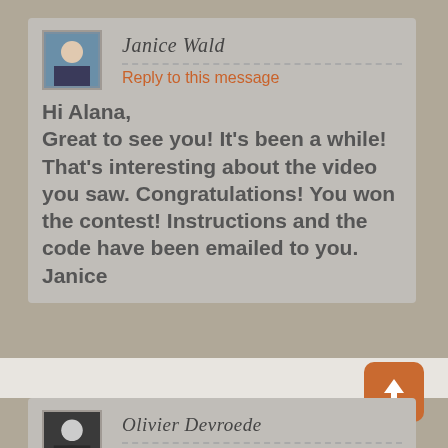Janice Wald
Reply to this message
Hi Alana,
Great to see you! It's been a while! That's interesting about the video you saw. Congratulations! You won the contest! Instructions and the code have been emailed to you.
Janice
Olivier Devroede